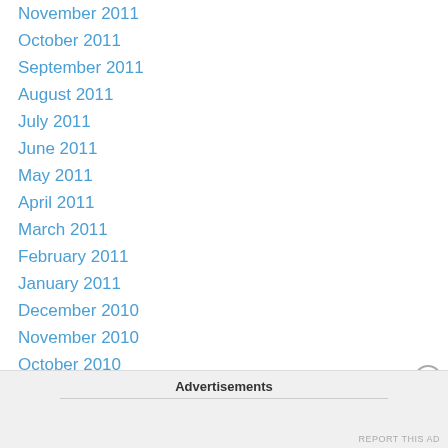November 2011
October 2011
September 2011
August 2011
July 2011
June 2011
May 2011
April 2011
March 2011
February 2011
January 2011
December 2010
November 2010
October 2010
September 2010
August 2010
July 2010
Advertisements
REPORT THIS AD